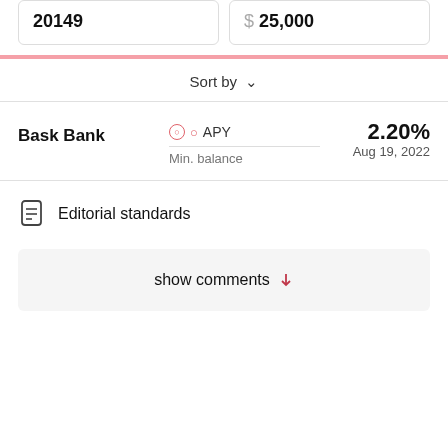20149
$ 25,000
Sort by
Bask Bank
APY
2.20%
Aug 19, 2022
Min. balance
Editorial standards
show comments